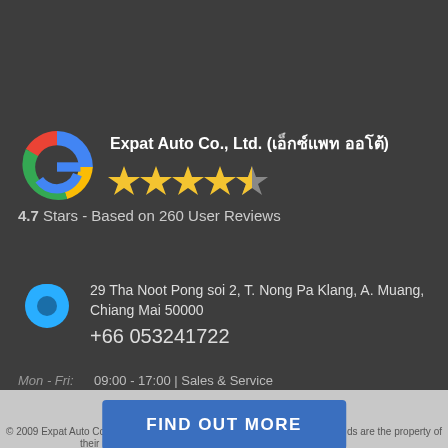[Figure (logo): Google 'G' logo in red, yellow, green, blue colors]
Expat Auto Co., Ltd. (เอ็กซ์แพท ออโต้)
[Figure (other): 4.7 star rating shown as 4 full gold stars and 1 half gold star]
4.7 Stars - Based on 260 User Reviews
[Figure (other): Blue Google Maps location pin icon]
29 Tha Noot Pong soi 2, T. Nong Pa Klang, A. Muang, Chiang Mai 50000
+66 053241722
Mon - Fri:  09:00 - 17:00 | Sales & Service
Saturday:  09:00 - 17:00 | Sales only
Sunday:  Closed
© 2009 Expat Auto Co., ... All brands are the property of their respective owners.
FIND OUT MORE